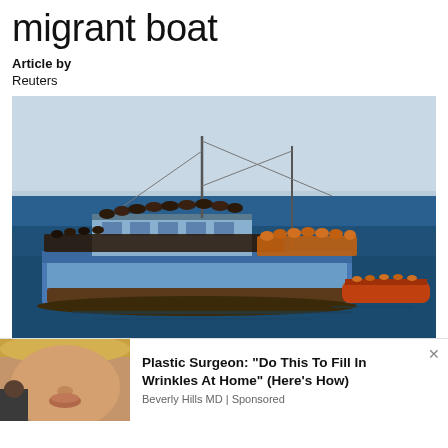migrant boat
Article by
Reuters
[Figure (photo): Overcrowded migrant fishing boat on blue sea with hundreds of migrants on deck and on top, with a smaller rescue boat alongside on the right.]
[Figure (photo): Advertisement banner: close-up of a woman's face. Plastic Surgeon: "Do This To Fill In Wrinkles At Home" (Here's How) - Beverly Hills MD | Sponsored]